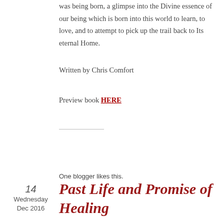was being born, a glimpse into the Divine essence of our being which is born into this world to learn, to love, and to attempt to pick up the trail back to Its eternal Home.
Written by Chris Comfort
Preview book HERE
[Figure (other): Social share buttons for Twitter and Facebook, with a horizontal divider line, Share This label, a Like button with star icon, a blogger avatar thumbnail, and text 'One blogger likes this.']
One blogger likes this.
14
Wednesday
Dec 2016
Past Life and Promise of Healing